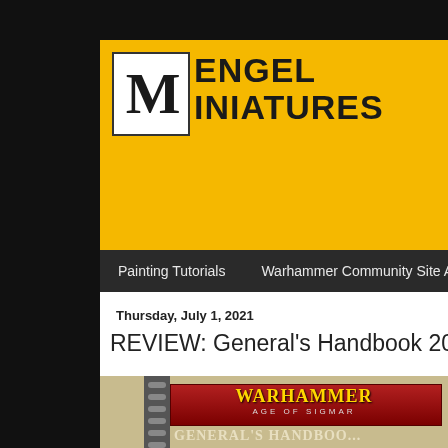Mengel Miniatures
Painting Tutorials | Warhammer Community Site Articles
Thursday, July 1, 2021
REVIEW: General's Handbook 2021
[Figure (photo): Photo of the Warhammer Age of Sigmar General's Handbook 2021 book, spiral bound, with red header band showing the Warhammer Age of Sigmar logo and General's Handbook title text, a fantasy miniature character visible at the bottom.]